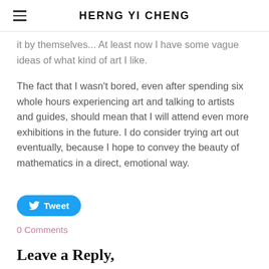HERNG YI CHENG
it by themselves... At least now I have some vague ideas of what kind of art I like.
The fact that I wasn't bored, even after spending six whole hours experiencing art and talking to artists and guides, should mean that I will attend even more exhibitions in the future. I do consider trying art out eventually, because I hope to convey the beauty of mathematics in a direct, emotional way.
[Figure (other): Tweet button with Twitter bird icon]
0 Comments
Leave a Reply,